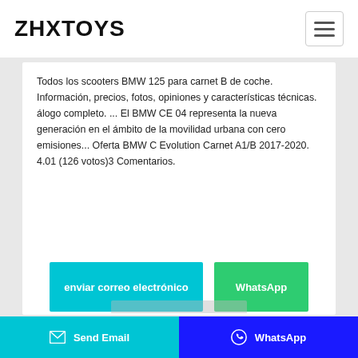ZHXTOYS
Todos los scooters BMW 125 para carnet B de coche. Información, precios, fotos, opiniones y características técnicas. álogo completo. ... El BMW CE 04 representa la nueva generación en el ámbito de la movilidad urbana con cero emisiones... Oferta BMW C Evolution Carnet A1/B 2017-2020. 4.01 (126 votos)3 Comentarios.
enviar correo electrónico
WhatsApp
Send Email   WhatsApp